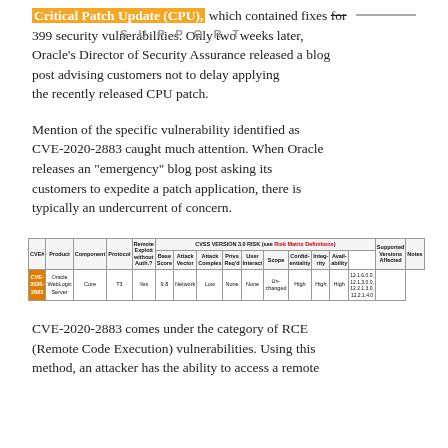Critical Patch Update (CPU), which contained fixes for 399 security vulnerabilities. Only two weeks later, Oracle's Director of Security Assurance released a blog post advising customers not to delay applying the recently released CPU patch.
Mention of the specific vulnerability identified as CVE-2020-2883 caught much attention. When Oracle releases an "emergency" blog post asking its customers to expedite a patch application, there is typically an undercurrent of concern.
| CVE# | Product | Component | Protocol | Remote Exploit without Auth? | Base Score | Attack Vector | Attack Complex | Privs Req'd | User Interact | Scope | Confid-entiality | Integ-rity | Avail-ability | Supported Versions Affected | Notes |
| --- | --- | --- | --- | --- | --- | --- | --- | --- | --- | --- | --- | --- | --- | --- | --- |
| CVE-2020-2883 | Oracle WebLogic Server | Core | T3 | Yes | 9.8 | Network | Low | None | None | Un-changed | High | High | High | 12.1.6.0.0, 12.1.3.0.0, 12.2.1.3.0, 12.2.1.4.0 |  |
CVE-2020-2883 comes under the category of RCE (Remote Code Execution) vulnerabilities. Using this method, an attacker has the ability to access a remote